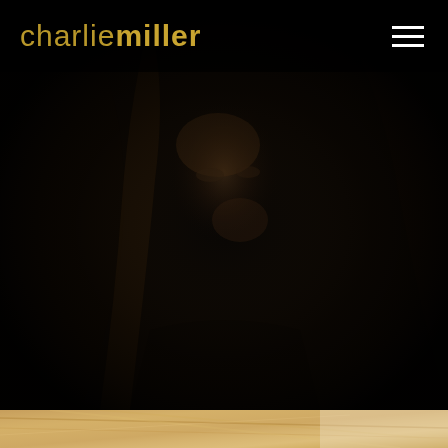[Figure (photo): Dark moody portrait photograph of a blonde woman with pale skin, shot in low-key lighting against a dark background. Her face is partially lit, looking toward the camera. She wears a dark collared top. The image has a cinematic, high-fashion aesthetic.]
charliemiller
[Figure (photo): Bottom strip showing the top of a woman's blonde hair on a light/white background, previewing a second photograph below the fold.]